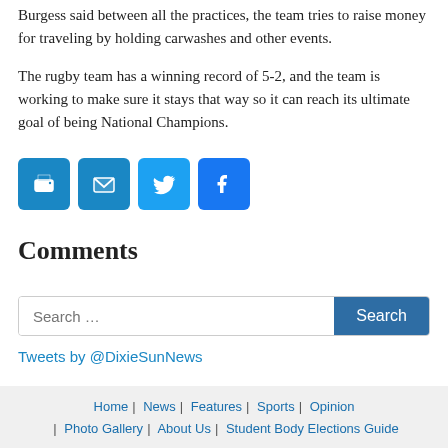Burgess said between all the practices, the team tries to raise money for traveling by holding carwashes and other events.
The rugby team has a winning record of 5-2, and the team is working to make sure it stays that way so it can reach its ultimate goal of being National Champions.
[Figure (other): Social sharing icons: print, email, Twitter, Facebook]
Comments
Search …
Tweets by @DixieSunNews
Home | News | Features | Sports | Opinion | Photo Gallery | About Us | Student Body Elections Guide